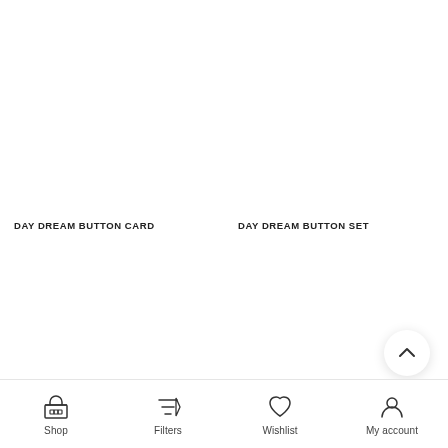[Figure (photo): Product image area for DAY DREAM BUTTON CARD, white/empty background]
DAY DREAM BUTTON CARD
[Figure (photo): Product image area for DAY DREAM BUTTON SET, white/empty background]
DAY DREAM BUTTON SET
[Figure (other): Scroll to top button with upward chevron arrow]
Shop   Filters   Wishlist   My account